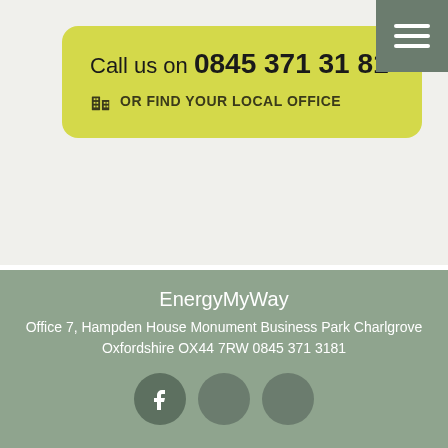Call us on 0845 371 31 81
OR FIND YOUR LOCAL OFFICE
EnergyMyWay
Office 7, Hampden House Monument Business Park Charlgrove Oxfordshire OX44 7RW 0845 371 3181
[Figure (other): Social media icons row with Facebook and two other social platform circles]